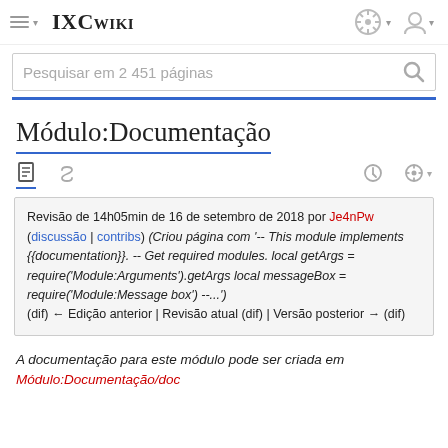IXCwiki
Pesquisar em 2 451 páginas
Módulo:Documentação
Revisão de 14h05min de 16 de setembro de 2018 por Je4nPw (discussão | contribs) (Criou página com '-- This module implements {{documentation}}. -- Get required modules. local getArgs = require('Module:Arguments').getArgs local messageBox = require('Module:Message box') --...')
(dif) ← Edição anterior | Revisão atual (dif) | Versão posterior → (dif)
A documentação para este módulo pode ser criada em Módulo:Documentação/doc